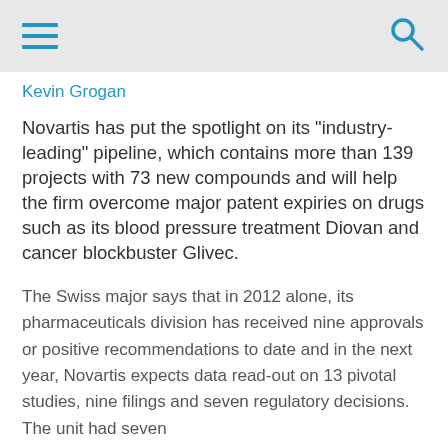[hamburger menu icon] [search icon]
Kevin Grogan
Novartis has put the spotlight on its "industry-leading" pipeline, which contains more than 139 projects with 73 new compounds and will help the firm overcome major patent expiries on drugs such as its blood pressure treatment Diovan and cancer blockbuster Glivec.
The Swiss major says that in 2012 alone, its pharmaceuticals division has received nine approvals or positive recommendations to date and in the next year, Novartis expects data read-out on 13 pivotal studies, nine filings and seven regulatory decisions. The unit had seven